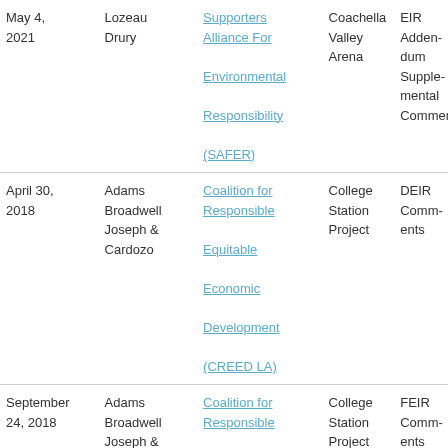| Date | Firm | Organization | Project | Type |
| --- | --- | --- | --- | --- |
| May 4, 2021 | Lozeau Drury | Supporters Alliance For Environmental Responsibility (SAFER) | Coachella Valley Arena | EIR Addendum Supplemental Comments |
| April 30, 2018 | Adams Broadwell Joseph & Cardozo | Coalition for Responsible Equitable Economic Development (CREED LA) | College Station Project | DEIR Comments |
| September 24, 2018 | Adams Broadwell Joseph & Cardozo | Coalition for Responsible Equitable Economic Development (CREED LA) | College Station Project | FEIR Comments |
| November 13, 2018 | Lozeau Drury | Laborers (LIUNA) Union | College Station Project | Appeal to Commission |